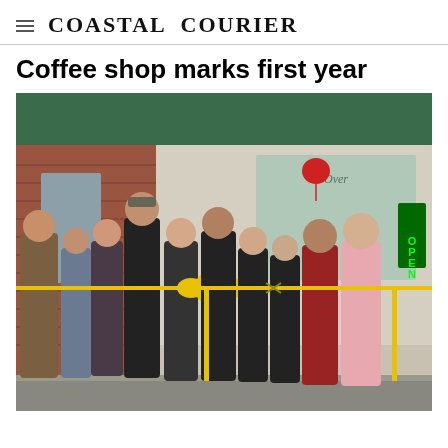Coastal Courier
Coffee shop marks first year
[Figure (photo): Group of people standing in front of a brick coffee shop storefront with a green awning, holding a yellow ribbon for a ribbon-cutting ceremony. A yellow bow is at the center. An OPEN neon sign is visible in the window.]